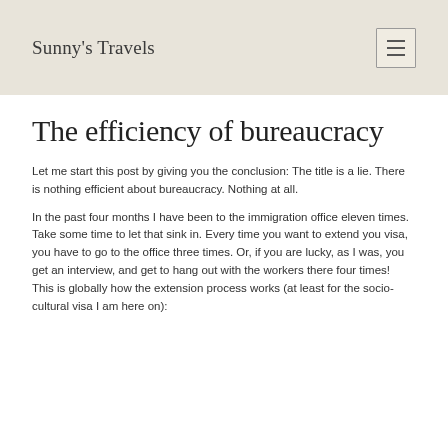Sunny's Travels
The efficiency of bureaucracy
Let me start this post by giving you the conclusion: The title is a lie. There is nothing efficient about bureaucracy. Nothing at all.
In the past four months I have been to the immigration office eleven times. Take some time to let that sink in. Every time you want to extend you visa, you have to go to the office three times. Or, if you are lucky, as I was, you get an interview, and get to hang out with the workers there four times!
This is globally how the extension process works (at least for the socio-cultural visa I am here on):